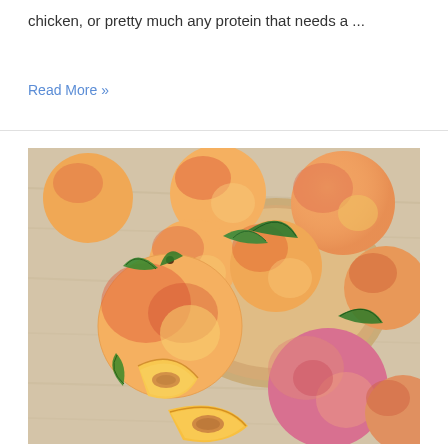chicken, or pretty much any protein that needs a ...
Read More »
[Figure (photo): Fresh peaches arranged on a wooden surface and in a wooden bowl. A whole peach in the foreground shows pink, red, and yellow coloring with green leaves attached. Two sliced peach wedges reveal the yellow flesh and dark red pit. Multiple whole peaches in background and in a round wooden bowl, all showing vibrant orange-pink-red coloring.]